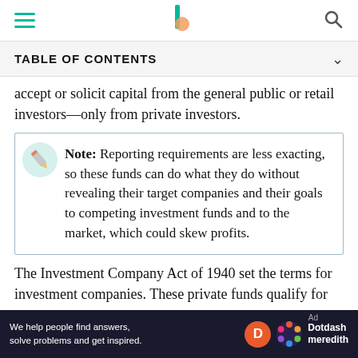TABLE OF CONTENTS
accept or solicit capital from the general public or retail investors—only from private investors.
Note: Reporting requirements are less exacting, so these funds can do what they do without revealing their target companies and their goals to competing investment funds and to the market, which could skew profits.
The Investment Company Act of 1940 set the terms for investment companies. These private funds qualify for
[Figure (infographic): Dotdash Meredith advertisement banner: 'We help people find answers, solve problems and get inspired.' with D logo and colorful flower logo]